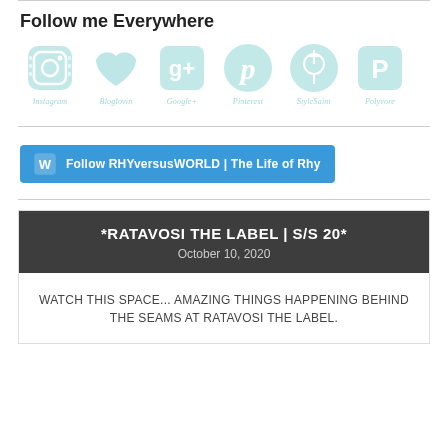Follow me Everywhere
[Figure (illustration): Six social media icons in teal/mint color: Instagram (camera), Bloglovin (heart), Google+ (g+), Pinterest (p), StyleSaint, Polyvore (P), each with label below]
Follow RHYversusWORLD | The Life of Rhy
*RATAVOSI THE LABEL | S/S 20*
October 10, 2020
WATCH THIS SPACE... AMAZING THINGS HAPPENING BEHIND THE SEAMS AT RATAVOSI THE LABEL.